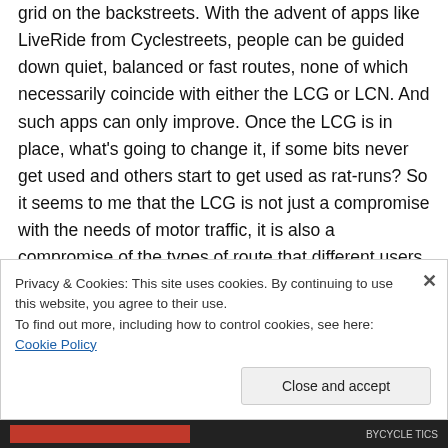grid on the backstreets. With the advent of apps like LiveRide from Cyclestreets, people can be guided down quiet, balanced or fast routes, none of which necessarily coincide with either the LCG or LCN. And such apps can only improve. Once the LCG is in place, what's going to change it, if some bits never get used and others start to get used as rat-runs? So it seems to me that the LCG is not just a compromise with the needs of motor traffic, it is also a compromise of the types of route that different users might want
Privacy & Cookies: This site uses cookies. By continuing to use this website, you agree to their use.
To find out more, including how to control cookies, see here: Cookie Policy